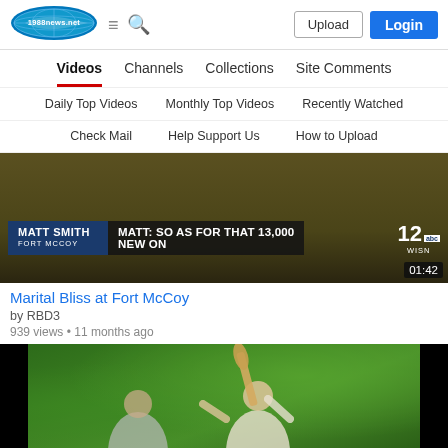[Figure (logo): 1988news.net site logo - blue oval with fish/globe design]
Upload | Login
Videos
Channels
Collections
Site Comments
Daily Top Videos
Monthly Top Videos
Recently Watched
Check Mail
Help Support Us
How to Upload
[Figure (screenshot): Video thumbnail showing a news broadcast. Lower third graphic shows 'MATT SMITH / FORT MCCOY' on left and 'MATT: SO AS FOR THAT 13,000 NEW ON' in ticker. Channel 12 abc WISN bug visible. Duration 01:42.]
Marital Bliss at Fort McCoy
by RBD3
939 views • 11 months ago
[Figure (screenshot): Video thumbnail showing two children outdoors with trees in background. A girl with long hair holds a bat/paddle raised above her head triumphantly. Another child visible on left. Black pillarbox bars on sides.]